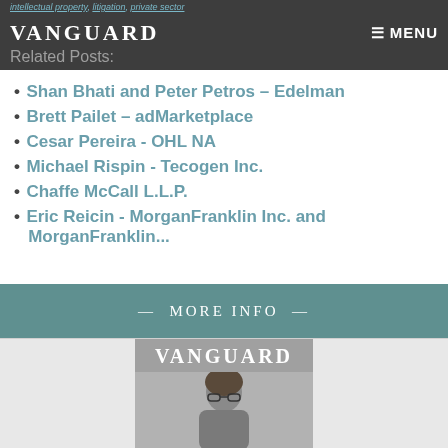intellectual property, litigation, private sector
VANGUARD  ≡ MENU  Related Posts:
Shan Bhati and Peter Petros – Edelman
Brett Pailet – adMarketplace
Cesar Pereira - OHL NA
Michael Rispin - Tecogen Inc.
Chaffe McCall L.L.P.
Eric Reicin - MorganFranklin Inc. and MorganFranklin...
— MORE INFO —
[Figure (photo): Vanguard magazine cover showing a person with dark curly hair and glasses]